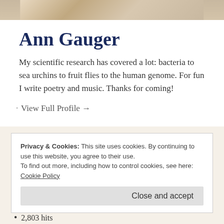[Figure (photo): Partial photo of Ann Gauger at top of page — cropped close-up, appears to show a person with gray/white hair]
Ann Gauger
My scientific research has covered a lot: bacteria to sea urchins to fruit flies to the human genome. For fun I write poetry and music. Thanks for coming!
View Full Profile →
Privacy & Cookies: This site uses cookies. By continuing to use this website, you agree to their use.
To find out more, including how to control cookies, see here:
Cookie Policy
Close and accept
2,803 hits